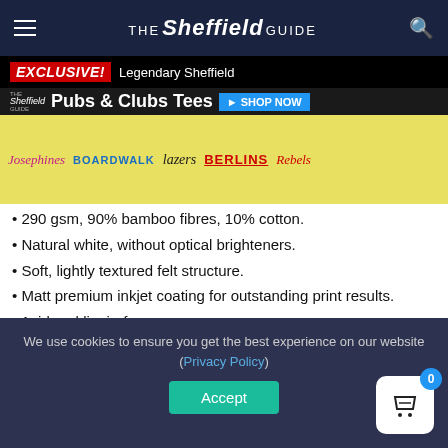THE Sheffield GUIDE
[Figure (screenshot): Banner advertisement for The Sheffield Guide showing 'EXCLUSIVE! Legendary Sheffield Pubs & Clubs Tees' with a SHOP NOW button and logos including Josephines, Boardwalk, Lazers, Berlins, Rebels]
290 gsm, 90% bamboo fibres, 10% cotton.
Natural white, without optical brighteners.
Soft, lightly textured felt structure.
Matt premium inkjet coating for outstanding print results.
Acid and lignin-free.
ISO 9706 conform / museum quality for highest age resistance.
Lustre fine art prints
We use cookies to ensure you get the best experience on our website (Privacy Policy)
Accept